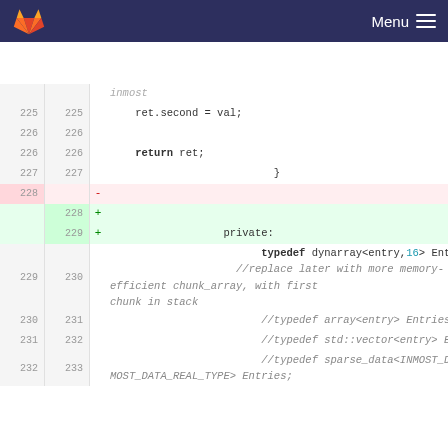Menu
[Figure (screenshot): GitLab code diff viewer showing C++ source code lines 225-233, including ret.second = val;, return ret;, closing brace, a deleted blank line (228-), two added lines (228+, 229+ private:), and typedef dynarray<entry,16> Entries; with commented-out alternative typedefs]
inmost
225 225   ret.second = val;
226 226
226 226   return ret;
227 227                           }
228     -
    228 +
    229 +                   private:
229 230                         typedef dynarray<entry,16> Entries;
                    //replace later with more memory-efficient chunk_array, with first chunk in stack
230 231                         //typedef array<entry> Entries;
231 232                         //typedef std::vector<entry> Entries;
232 233                         //typedef sparse_data<INMOST_DATA_ENUM_TYPE,INMOST_DATA_REAL_TYPE> Entries;